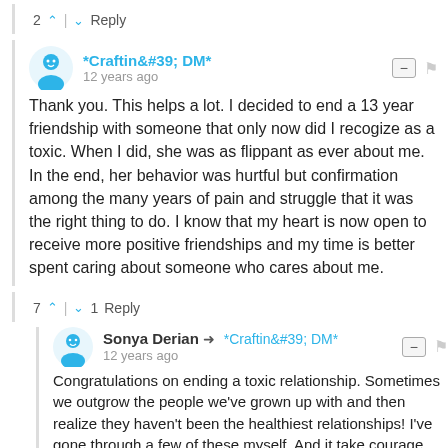2 ^ | v Reply
*Craftin&#39; DM*
12 years ago
Thank you. This helps a lot. I decided to end a 13 year friendship with someone that only now did I recogize as a toxic. When I did, she was as flippant as ever about me. In the end, her behavior was hurtful but confirmation among the many years of pain and struggle that it was the right thing to do. I know that my heart is now open to receive more positive friendships and my time is better spent caring about someone who cares about me.
7 ^ | v 1 Reply
Sonya Derian → *Craftin&#39; DM*
12 years ago
Congratulations on ending a toxic relationship. Sometimes we outgrow the people we've grown up with and then realize they haven't been the healthiest relationships! I've gone through a few of these myself. And it take courage. So congrats. And if the friendship is meant to be in your life, it will come back into your life, but on your terms :-)